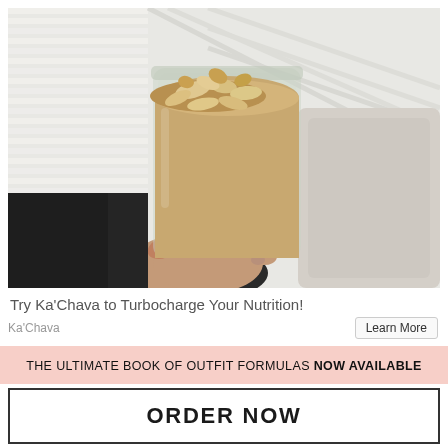[Figure (photo): A hand holding a glass jar filled with a creamy smoothie topped with oats and nuts, with white window blinds and a beige cushion in the background.]
Try Ka'Chava to Turbocharge Your Nutrition!
Ka'Chava    Learn More
THE ULTIMATE BOOK OF OUTFIT FORMULAS NOW AVAILABLE
ORDER NOW